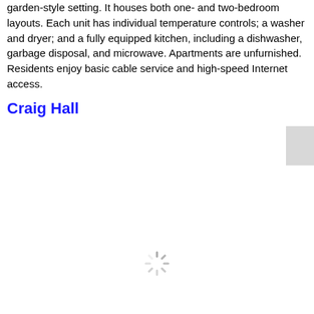garden-style setting. It houses both one- and two-bedroom layouts. Each unit has individual temperature controls; a washer and dryer; and a fully equipped kitchen, including a dishwasher, garbage disposal, and microwave. Apartments are unfurnished. Residents enjoy basic cable service and high-speed Internet access.
Craig Hall
[Figure (photo): Loading image placeholder with a spinner icon and a gray rectangle partially visible in the upper-right corner, indicating an image of Craig Hall that has not fully loaded.]